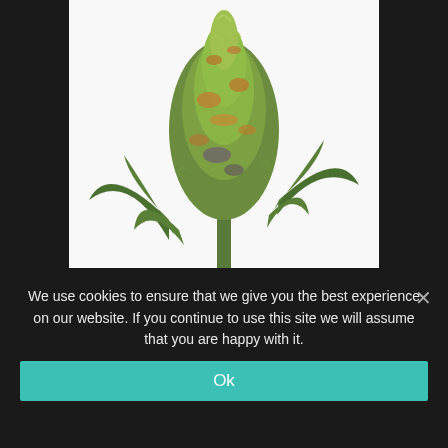[Figure (photo): Close-up photo of a cannabis plant bud (Pixie Dust Feminized) with green and orange/amber trichomes on a white background, shown against a dark/black page background.]
PIXIE DUST FEMINIZED
Click For Price
We use cookies to ensure that we give you the best experience on our website. If you continue to use this site we will assume that you are happy with it.
Ok